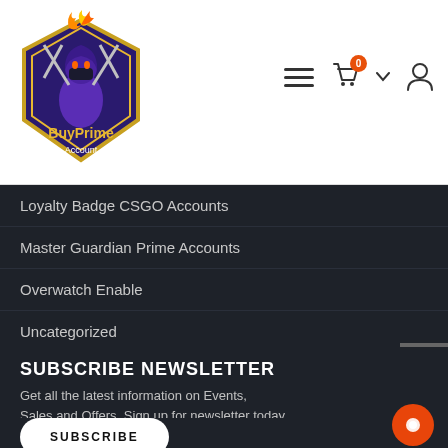[Figure (logo): BuyPrime Account logo with purple ninja character and fire, golden shield emblem]
[Figure (infographic): Header icons: hamburger menu, shopping cart with 0 badge, dropdown arrow, user profile icon]
Loyalty Badge CSGO Accounts
Master Guardian Prime Accounts
Overwatch Enable
Uncategorized
Valorant Account
SUBSCRIBE NEWSLETTER
Get all the latest information on Events, Sales and Offers. Sign up for newsletter today.
Email address
SUBSCRIBE